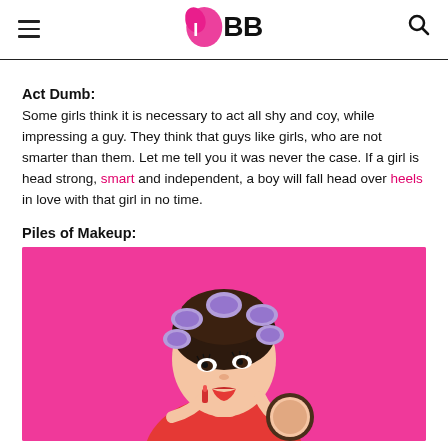IMBB
Act Dumb:
Some girls think it is necessary to act all shy and coy, while impressing a guy. They think that guys like girls, who are not smarter than them. Let me tell you it was never the case. If a girl is head strong, smart and independent, a boy will fall head over heels in love with that girl in no time.
Piles of Makeup:
[Figure (photo): Woman with purple hair rollers in her hair, applying lipstick while holding a compact mirror, against a bright pink background, wearing a red top.]